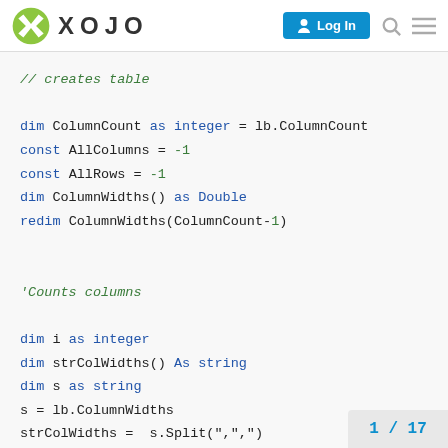XOJO | Log In
[Figure (screenshot): Xojo forum code block showing Basic/Xojo code snippet for creating a table, counting columns, and declaring variables]
1 / 17